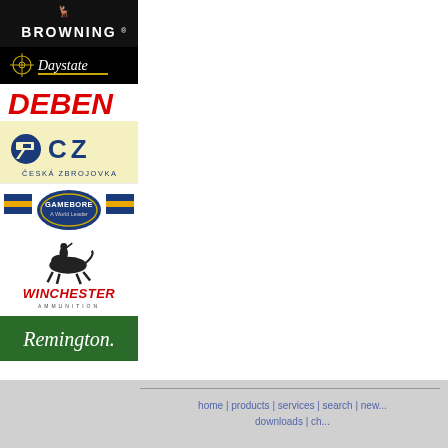[Figure (logo): Browning logo - white text on black background]
[Figure (logo): Daystate logo - white italic text on black background with crosshair icon]
[Figure (logo): Deben logo - red bold italic text on white background]
[Figure (logo): CZ / Ceska Zbrojovka logo - blue CZ text with pistol icon on cream background]
[Figure (logo): Gamebore - A World Leader logo with oval badge and yellow/navy stripes]
[Figure (logo): Winchester Ammunition logo with horseman illustration and red italic text]
[Figure (logo): Remington logo - white italic text on green background]
home | products | services | search | new... downloads | ch...